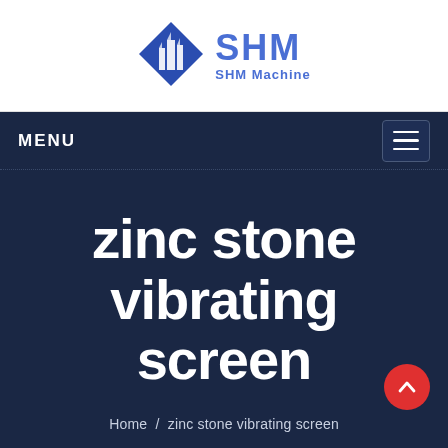[Figure (logo): SHM Machine logo with blue diamond shape containing white building silhouette, and SHM in blue text with SHM Machine subtitle]
MENU
zinc stone vibrating screen
Home / zinc stone vibrating screen